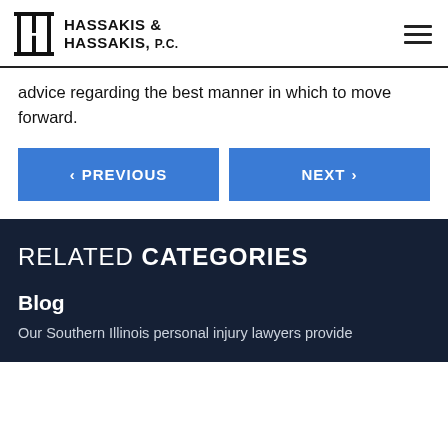HASSAKIS & HASSAKIS, P.C.
advice regarding the best manner in which to move forward.
< PREVIOUS
NEXT >
RELATED CATEGORIES
Blog
Our Southern Illinois personal injury lawyers provide